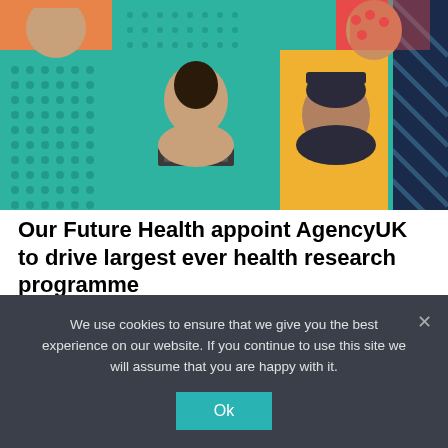[Figure (photo): Colorful photo collage showing multiple people's faces on teal, yellow, red, and navy backgrounds with dot patterns and diagonal stripe patterns]
Our Future Health appoint AgencyUK to drive largest ever health research programme
Read more
We use cookies to ensure that we give you the best experience on our website. If you continue to use this site we will assume that you are happy with it.
Ok